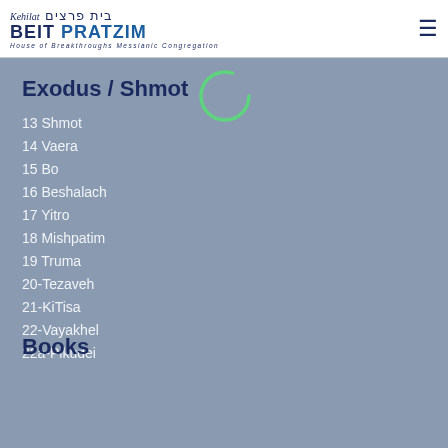Kehilat Beit Pratzim — House of Breakthroughs Messianic Congregation
Exodus / Shmot
13 Shmot
14 Vaera
15 Bo
16 Beshalach
17 Yitro
18 Mishpatim
19 Truma
20-Tezaveh
21-KiTisa
22-Vayakhel
22a-Pikudei